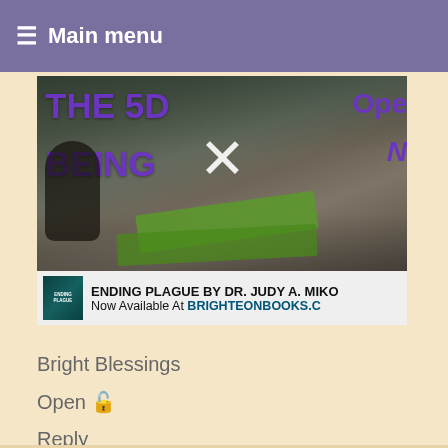≡ Main menu
[Figure (screenshot): Video thumbnail showing 'THE 5D BEING' text in purple on a dark background with a person doing yoga, an X close button overlay, and 'Ope' text partially visible on the right. Below is an advertisement bar: 'ENDING PLAGUE BY DR. JUDY A. MIKO Now Available At BRIGHTEONBOOKS.C']
Bright Blessings
Open 🔓
Reply